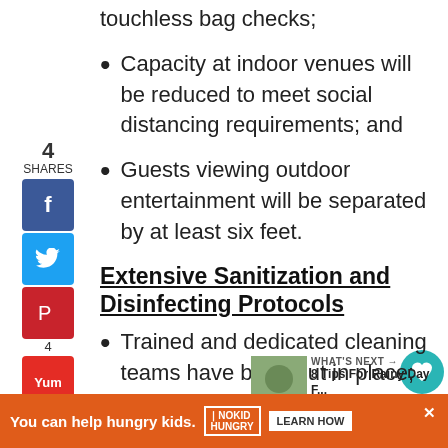touchless bag checks;
Capacity at indoor venues will be reduced to meet social distancing requirements; and
Guests viewing outdoor entertainment will be separated by at least six feet.
Extensive Sanitization and Disinfecting Protocols
Trained and dedicated cleaning teams have been put in place;